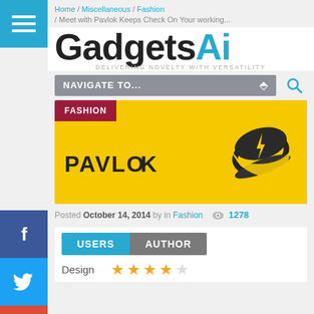Home / Miscellaneous / Fashion / Meet with Pavlok Keeps Check On Your working...
GadgetsAI
DELIVERING NOVELTY WITH VERSATILITY
NAVIGATE TO...
[Figure (photo): Pavlok wearable wristband device on yellow background with FASHION badge]
Posted October 14, 2014 by in Fashion  👁 1278
USERS | AUTHOR tabs
Design ★★★★☆